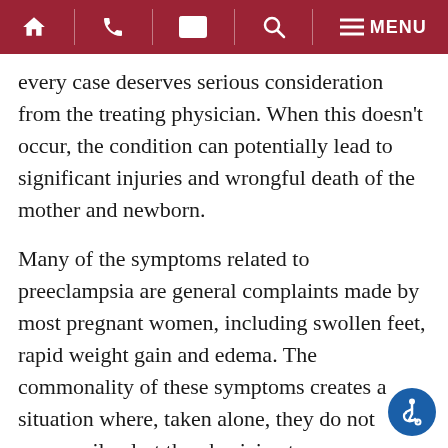Navigation bar with home, phone, email, search, and menu icons
every case deserves serious consideration from the treating physician. When this doesn't occur, the condition can potentially lead to significant injuries and wrongful death of the mother and newborn.
Many of the symptoms related to preeclampsia are general complaints made by most pregnant women, including swollen feet, rapid weight gain and edema. The commonality of these symptoms creates a situation where, taken alone, they do not necessarily alert the physician to a more serious problem. Detection is best handled through regularly scheduled obstetrician appointments, with the physician monitoring the blood pressure and protein levels of the mother. If the physician is taking reasonable precautions, preeclampsia detection should occur...